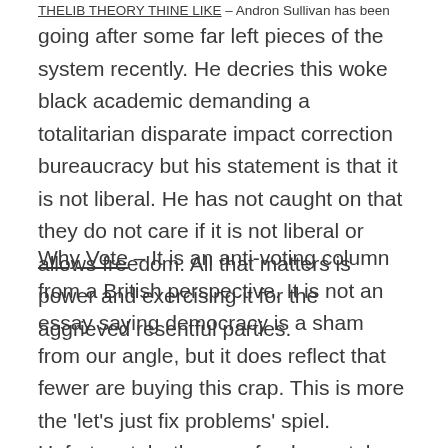THELIB THEORY THINE LIKE – Andron Sullivan has been
going after some far left pieces of the system recently. He decries this woke black academic demanding a totalitarian disparate impact correction bureaucracy but his statement is that it is not liberal. He has not caught on that they do not care if it is not liberal or allows freedom. All that matters is power and exercising it for the aggrieved resentful parties.
Why Vote – It is an anti-voting column from a British perspective. It is not an essay saying democracy is a sham from our angle, but it does reflect that fewer are buying this crap. This is more the 'let's just fix problems' spiel. Unfortunately, the core fundamental differences between sides have come down to one group of natives hoping to preserve their nation vs the other group of natives who don't reproduce or have a